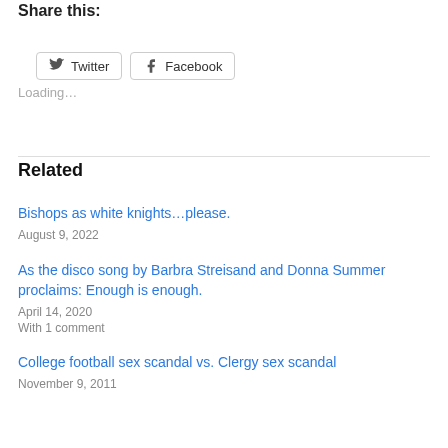Share this:
[Figure (other): Twitter and Facebook share buttons]
Loading…
Related
Bishops as white knights…please.
August 9, 2022
As the disco song by Barbra Streisand and Donna Summer proclaims: Enough is enough.
April 14, 2020
With 1 comment
College football sex scandal vs. Clergy sex scandal
November 9, 2011